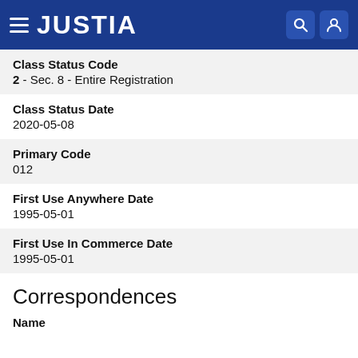JUSTIA
Class Status Code
2 - Sec. 8 - Entire Registration
Class Status Date
2020-05-08
Primary Code
012
First Use Anywhere Date
1995-05-01
First Use In Commerce Date
1995-05-01
Correspondences
Name